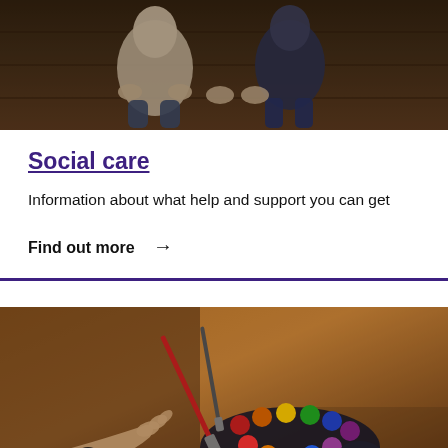[Figure (photo): Two people (possibly adults/children) sitting on a wooden floor against a dark wooden background]
Social care
Information about what help and support you can get
Find out more →
[Figure (photo): Children's hands painting with watercolors, colorful paint palette and brushes on a table]